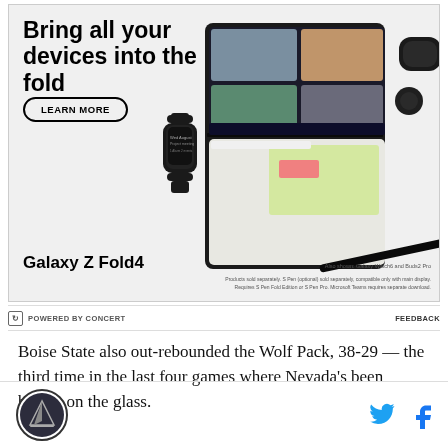[Figure (photo): Samsung Galaxy Z Fold4 advertisement showing the device along with Galaxy Watch6 and Buds2 Pro. Headline reads 'Bring all your devices into the fold' with a LEARN MORE button. Shows people on a video call on the folded phone screen.]
POWERED BY CONCERT   FEEDBACK
Boise State also out-rebounded the Wolf Pack, 38-29 — the third time in the last four games where Nevada's been beaten on the glass.
[Figure (logo): Mountain West Blog site logo - circular logo with mountain imagery]